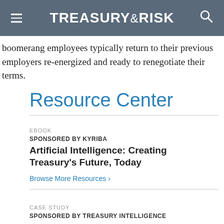TREASURY&RISK
boomerang employees typically return to their previous employers re-energized and ready to renegotiate their terms.
Resource Center
EBOOK
SPONSORED BY KYRIBA
Artificial Intelligence: Creating Treasury's Future, Today
Browse More Resources ›
CASE STUDY
SPONSORED BY TREASURY INTELLIGENCE